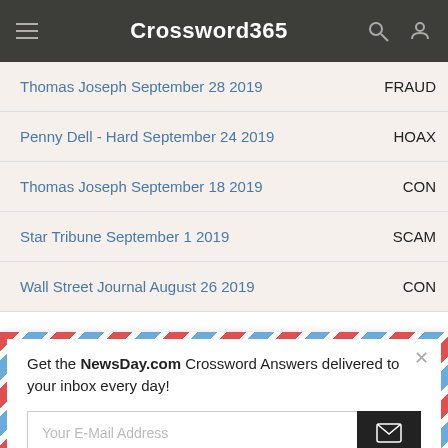Crossword365
| Crossword | Answer |
| --- | --- |
| Thomas Joseph September 28 2019 | FRAUD |
| Penny Dell - Hard September 24 2019 | HOAX |
| Thomas Joseph September 18 2019 | CON |
| Star Tribune September 1 2019 | SCAM |
| Wall Street Journal August 26 2019 | CON |
[Figure (infographic): Email newsletter signup popup with airmail-style border. Text: 'Get the NewsDay.com Crossword Answers delivered to your inbox every day!' with email input field and submit button. Has a close (×) button in top right.]
This website uses cookies to ensure you get the best experience on our website